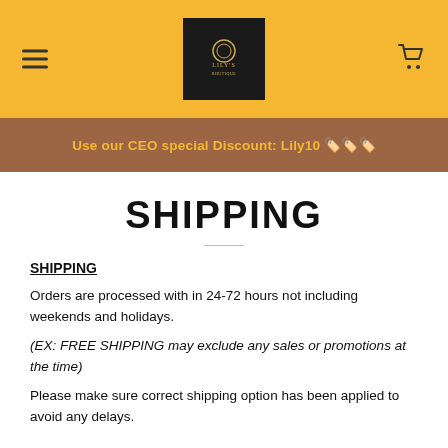Lily's [logo] — navigation header with hamburger menu and cart icon
Use our CEO special Discount: Lily10 🏷️🏷️🏷️
SHIPPING
SHIPPING
Orders are processed with in 24-72 hours not including weekends and holidays.
(EX: FREE SHIPPING may exclude any sales or promotions at the time)
Please make sure correct shipping option has been applied to avoid any delays.